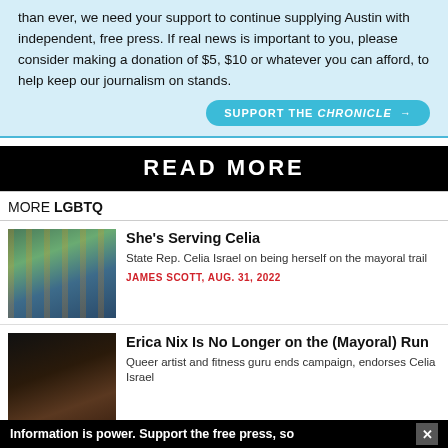than ever, we need your support to continue supplying Austin with independent, free press. If real news is important to you, please consider making a donation of $5, $10 or whatever you can afford, to help keep our journalism on stands.
SUPPORT THE CHRONICLE →
READ MORE
MORE LGBTQ
She's Serving Celia
State Rep. Celia Israel on being herself on the mayoral trail
JAMES SCOTT, AUG. 31, 2022
Erica Nix Is No Longer on the (Mayoral) Run
Queer artist and fitness guru ends campaign, endorses Celia Israel
Information is power. Support the free press, so